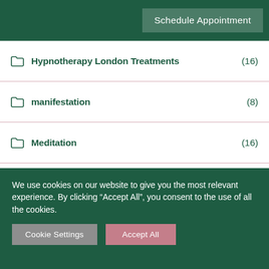Schedule Appointment
Hypnotherapy London Treatments (16)
manifestation (8)
Meditation (16)
Obsessive Compulsive Disorder (3)
Online Hypnosis (19)
Pain (15)
press (51)
Relationships (111)
We use cookies on our website to give you the most relevant experience. By clicking “Accept All”, you consent to the use of all the cookies.
Cookie Settings | Accept All